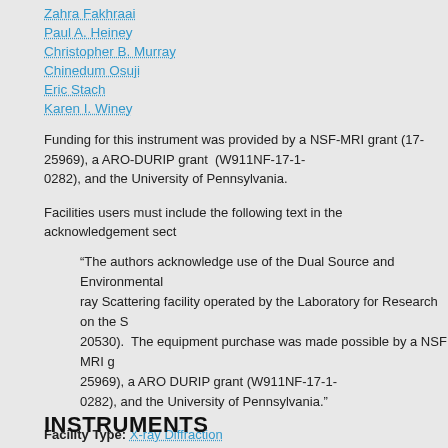Zahra Fakhraai
Paul A. Heiney
Christopher B. Murray
Chinedum Osuji
Eric Stach
Karen I. Winey
Funding for this instrument was provided by a NSF-MRI grant (17-25969), a ARO-DURIP grant (W911NF-17-1-0282), and the University of Pennsylvania.
Facilities users must include the following text in the acknowledgement sect
“The authors acknowledge use of the Dual Source and Environmental ray Scattering facility operated by the Laboratory for Research on the S 20530). The equipment purchase was made possible by a NSF MRI g 25969), a ARO DURIP grant (W911NF-17-1-0282), and the University of Pennsylvania.”
Facility Type: X-ray Diffraction
INSTRUMENTS